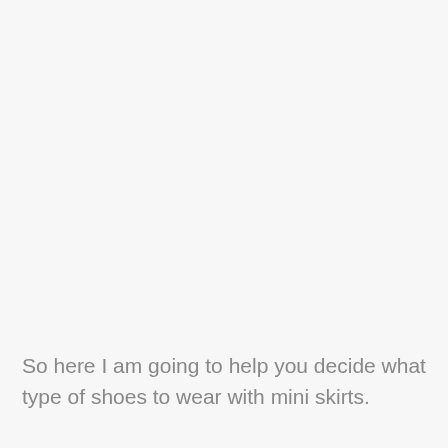So here I am going to help you decide what type of shoes to wear with mini skirts.